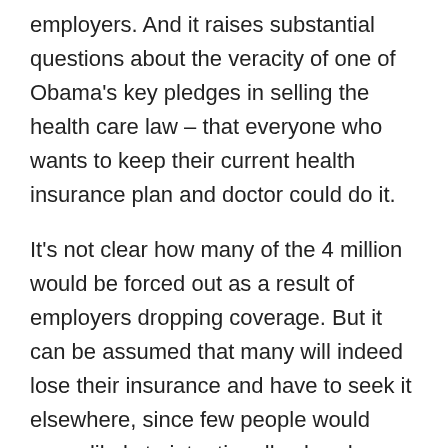employers. And it raises substantial questions about the veracity of one of Obama's key pledges in selling the health care law – that everyone who wants to keep their current health insurance plan and doctor could do it.
It's not clear how many of the 4 million would be forced out as a result of employers dropping coverage. But it can be assumed that many will indeed lose their insurance and have to seek it elsewhere, since few people would seem likely to intentionally abandon coverage provided by an employer.